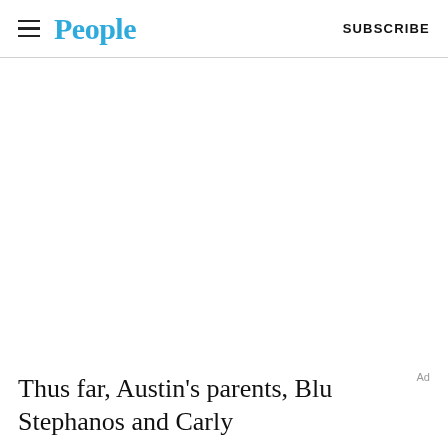People | SUBSCRIBE
Ad
Thus far, Austin's parents, Blu Stephanos and Carly